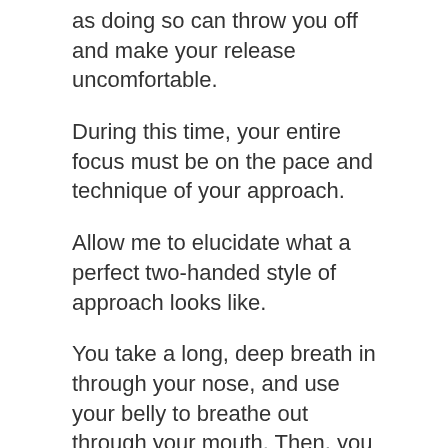as doing so can throw you off and make your release uncomfortable.
During this time, your entire focus must be on the pace and technique of your approach.
Allow me to elucidate what a perfect two-handed style of approach looks like.
You take a long, deep breath in through your nose, and use your belly to breathe out through your mouth. Then, you take two timed steps to set the pace of your approach.
If you’re a right-handed bowler, you approach towards the left side of the lane to aim. If you are left-handed, you would move towards the